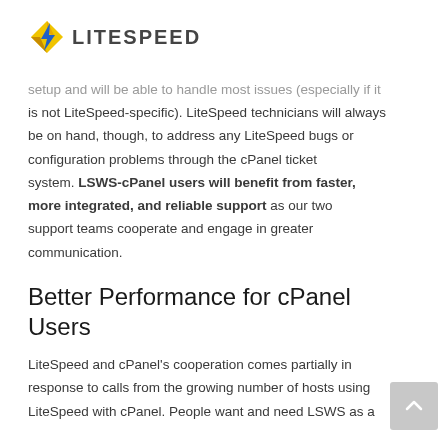LITESPEED
setup and will be able to handle most issues (especially if it is not LiteSpeed-specific). LiteSpeed technicians will always be on hand, though, to address any LiteSpeed bugs or configuration problems through the cPanel ticket system. LSWS-cPanel users will benefit from faster, more integrated, and reliable support as our two support teams cooperate and engage in greater communication.
Better Performance for cPanel Users
LiteSpeed and cPanel's cooperation comes partially in response to calls from the growing number of hosts using LiteSpeed with cPanel. People want and need LSWS as a